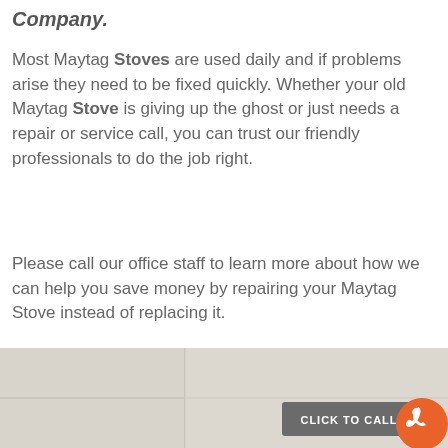Company.
Most Maytag Stoves are used daily and if problems arise they need to be fixed quickly. Whether your old Maytag Stove is giving up the ghost or just needs a repair or service call, you can trust our friendly professionals to do the job right.
Please call our office staff to learn more about how we can help you save money by repairing your Maytag Stove instead of replacing it.
FREE SERVICE CALL
[Figure (map): A greyed-out map area with a vertical dividing line, a 'CLICK TO CALL' button overlay, and an orange phone icon circle button in the bottom right corner.]